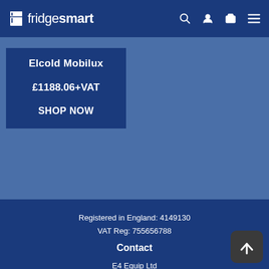fridgesmart
Elcold Mobilux
£1188.06+VAT
SHOP NOW
Registered in England: 4149130
VAT Reg: 755656788
Contact
E4 Equip Ltd
9 Petersham Mews, Lenton
Nottingham
NG7 1HF